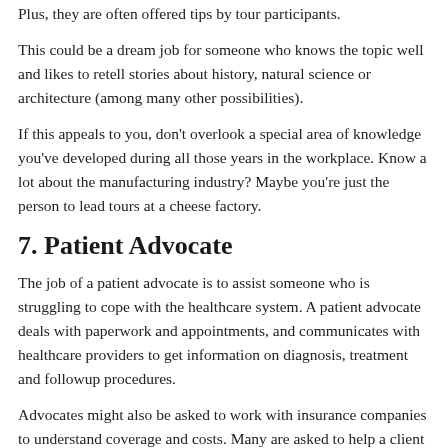Plus, they are often offered tips by tour participants.
This could be a dream job for someone who knows the topic well and likes to retell stories about history, natural science or architecture (among many other possibilities).
If this appeals to you, don't overlook a special area of knowledge you've developed during all those years in the workplace. Know a lot about the manufacturing industry? Maybe you're just the person to lead tours at a cheese factory.
7. Patient Advocate
The job of a patient advocate is to assist someone who is struggling to cope with the healthcare system. A patient advocate deals with paperwork and appointments, and communicates with healthcare providers to get information on diagnosis, treatment and followup procedures.
Advocates might also be asked to work with insurance companies to understand coverage and costs. Many are asked to help a client obtain assistance with financial or legal issues. The range of duties can be as varied as the